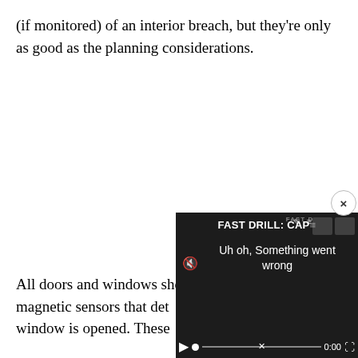(if monitored) of an interior breach, but they're only as good as the planning considerations.
All doors and windows sho magnetic sensors that det window is opened. These
[Figure (screenshot): A video player overlay showing 'FAST DRILL: CAP' title with error message 'Uh oh, Something went wrong' at 0:00, with a close (x) button, mute icon, play button, progress bar with X mark, time label 0:00, and fullscreen icon. Two dark thumbnail boxes visible top right.]